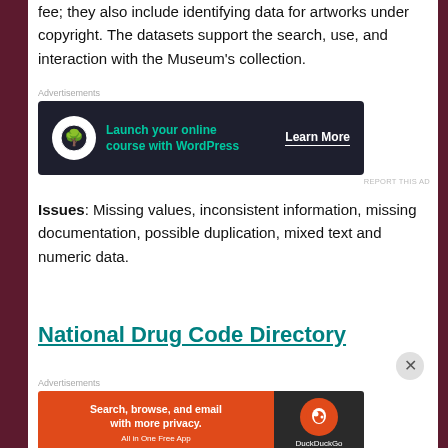fee; they also include identifying data for artworks under copyright. The datasets support the search, use, and interaction with the Museum's collection.
[Figure (screenshot): Advertisement banner: dark navy background with circle icon, teal text 'Launch your online course with WordPress', white 'Learn More' button with underline]
Issues: Missing values, inconsistent information, missing documentation, possible duplication, mixed text and numeric data.
National Drug Code Directory
[Figure (screenshot): Advertisement banner: DuckDuckGo ad with orange background, text 'Search, browse, and email with more privacy. All in One Free App', DuckDuckGo logo on dark right panel]